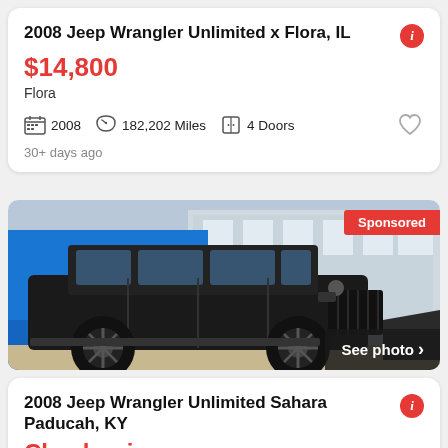2008 Jeep Wrangler Unlimited x Flora, IL
$14,800
Flora
2008   182,202 Miles   4 Doors
30+ days ago
[Figure (photo): Black 2008 Jeep Wrangler Unlimited parked in front of a building. A red 'Sponsored' badge appears in the top right and a dark 'See photo >' button in the bottom right.]
2008 Jeep Wrangler Unlimited Sahara Paducah, KY
Check price